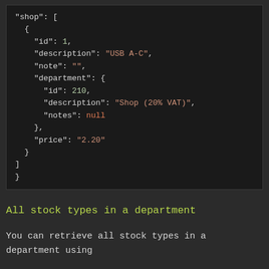[Figure (screenshot): JSON code block showing shop array with an object containing id, description, note, department (with id 210, description 'Shop (20% VAT)', notes null), and price fields]
All stock types in a department
You can retrieve all stock types in a department using